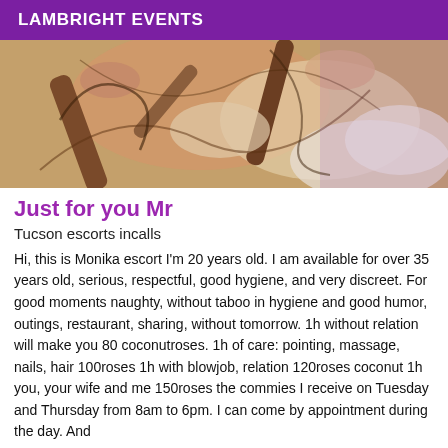LAMBRIGHT EVENTS
[Figure (illustration): Painted/illustrated image showing figures, hands, and abstract shapes in warm tones of orange, brown, and white against a purple background.]
Just for you Mr
Tucson escorts incalls
Hi, this is Monika escort I'm 20 years old. I am available for over 35 years old, serious, respectful, good hygiene, and very discreet. For good moments naughty, without taboo in hygiene and good humor, outings, restaurant, sharing, without tomorrow. 1h without relation will make you 80 coconutroses. 1h of care: pointing, massage, nails, hair 100roses 1h with blowjob, relation 120roses coconut 1h you, your wife and me 150roses the commies I receive on Tuesday and Thursday from 8am to 6pm. I can come by appointment during the day. And